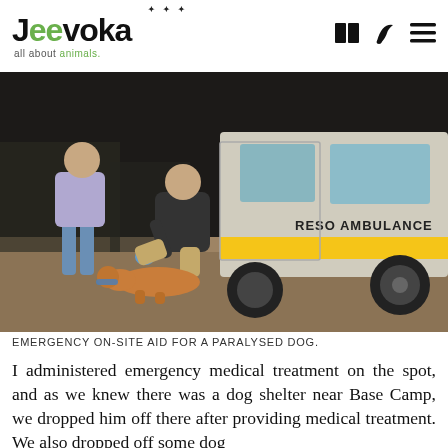Jeevoka — all about animals.
[Figure (photo): A person kneeling on sandy ground at night, wearing blue gloves and attending to a paralysed dog lying on the ground. An ambulance vehicle labelled 'RESO AMBULANCE' is visible in the background, along with another person standing nearby.]
EMERGENCY ON-SITE AID FOR A PARALYSED DOG.
I administered emergency medical treatment on the spot, and as we knew there was a dog shelter near Base Camp, we dropped him off there after providing medical treatment. We also dropped off some dog